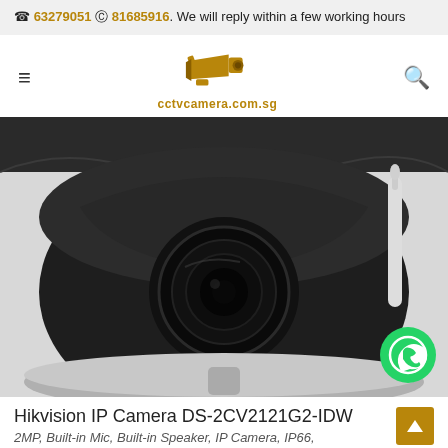📞 63279051 💬 81685916. We will reply within a few working hours
[Figure (logo): CCTV camera icon logo with text cctvcamera.com.sg in gold/brown color]
[Figure (photo): Hikvision dome IP camera DS-2CV2121G2-IDW, black dome camera with WiFi antenna, close-up front view on white background]
Hikvision IP Camera DS-2CV2121G2-IDW
2MP, Built-in Mic, Built-in Speaker, IP Camera, IP66,